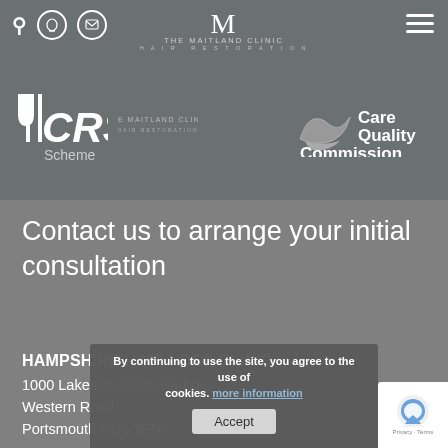Header with search, phone, email icons, hamburger menu, The Maitland Clinic Hair Restoration logo, ICRS Scheme logo, Care Quality Commission logo
Contact us to arrange your initial consultation
HAMPSHIRE HAIR LOSS CLINIC
1000 Lakeside North Harbour
Western Road
Portsmouth PO6 3EN
enquiries@...clinic
02392 706 122
By continuing to use the site, you agree to the use of cookies. more information Accept